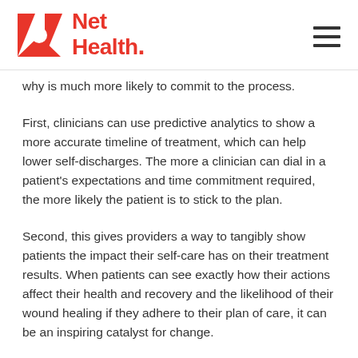Net Health
why is much more likely to commit to the process.
First, clinicians can use predictive analytics to show a more accurate timeline of treatment, which can help lower self-discharges. The more a clinician can dial in a patient’s expectations and time commitment required, the more likely the patient is to stick to the plan.
Second, this gives providers a way to tangibly show patients the impact their self-care has on their treatment results. When patients can see exactly how their actions affect their health and recovery and the likelihood of their wound healing if they adhere to their plan of care, it can be an inspiring catalyst for change.